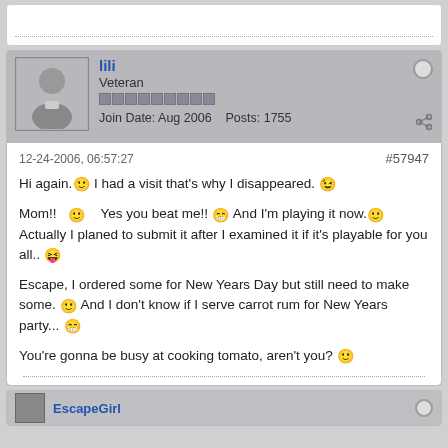[Figure (other): Top white card partial view with dotted divider line]
lili
Veteran
Join Date: Aug 2006   Posts: 1755
12-24-2006, 06:57:27
#57947
Hi again. [smiley] I had a visit that's why I disappeared. [wink smiley]

Mom!! [smiley] Yes you beat me!! [grin smiley] And I'm playing it now.[smiley] Actually I planed to submit it after I examined it if it's playable for you all.. [tongue smiley]

Escape, I ordered some for New Years Day but still need to make some. [smiley] And I don't know if I serve carrot rum for New Years party... [grin smiley]

You're gonna be busy at cooking tomato, aren't you? [smiley]
[Figure (other): Bottom card partial view showing EscapeGirl username]